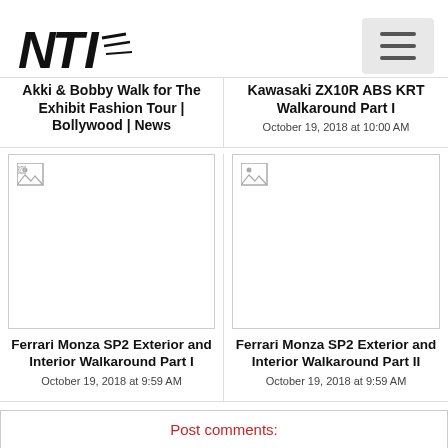NTI logo and navigation hamburger menu
Akki & Bobby Walk for The Exhibit Fashion Tour | Bollywood | News
Kawasaki ZX10R ABS KRT Walkaround Part I
October 19, 2018 at 10:00 AM
[Figure (photo): Thumbnail image placeholder (broken) for Ferrari Monza SP2 Exterior and Interior Walkaround Part I]
Ferrari Monza SP2 Exterior and Interior Walkaround Part I
October 19, 2018 at 9:59 AM
[Figure (photo): Thumbnail image placeholder (broken) for Ferrari Monza SP2 Exterior and Interior Walkaround Part II]
Ferrari Monza SP2 Exterior and Interior Walkaround Part II
October 19, 2018 at 9:59 AM
Post comments:
Your Name (*) :
Your Email :
Your Ph...